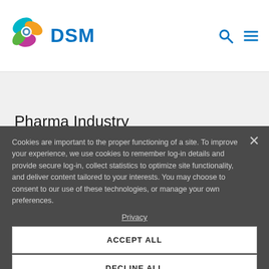[Figure (logo): DSM company logo with colorful swirl icon and blue DSM text]
Pharma Industry
Cookies are important to the proper functioning of a site. To improve your experience, we use cookies to remember log-in details and provide secure log-in, collect statistics to optimize site functionality, and deliver content tailored to your interests. You may choose to consent to our use of these technologies, or manage your own preferences.
Privacy
ACCEPT ALL
DECLINE ALL
MANAGE SETTINGS
Quick Links
websitin
documentation